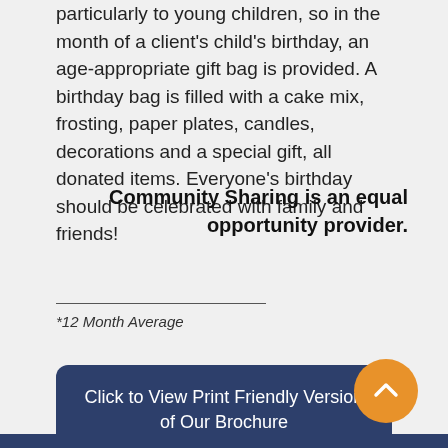particularly to young children, so in the month of a client's child's birthday, an age-appropriate gift bag is provided. A birthday bag is filled with a cake mix, frosting, paper plates, candles, decorations and a special gift, all donated items. Everyone's birthday should be celebrated with family and friends!
Community Sharing is an equal opportunity provider.
*12 Month Average
Click to View Print Friendly Version of Our Brochure